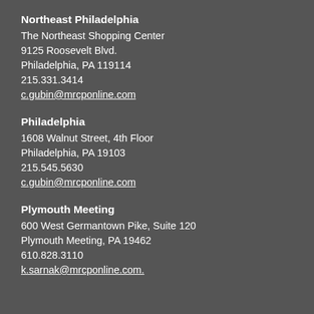Northeast Philadelphia
The Northeast Shopping Center
9125 Roosevelt Blvd.
Philadelphia, PA 119114
215.331.3414
c.gubin@mrcponline.com
Philadelphia
1608 Walnut Street, 4th Floor
Philadelphia, PA 19103
215.545.5630
c.gubin@mrcponline.com
Plymouth Meeting
600 West Germantown Pike, Suite 120
Plymouth Meeting, PA 19462
610.828.3110
k.sarnak@mrcponline.com.